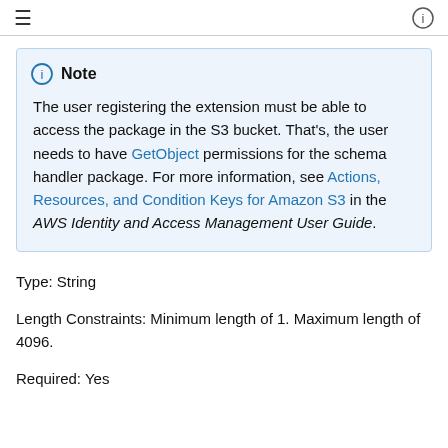≡   ⓘ
Note
The user registering the extension must be able to access the package in the S3 bucket. That's, the user needs to have GetObject permissions for the schema handler package. For more information, see Actions, Resources, and Condition Keys for Amazon S3 in the AWS Identity and Access Management User Guide.
Type: String
Length Constraints: Minimum length of 1. Maximum length of 4096.
Required: Yes